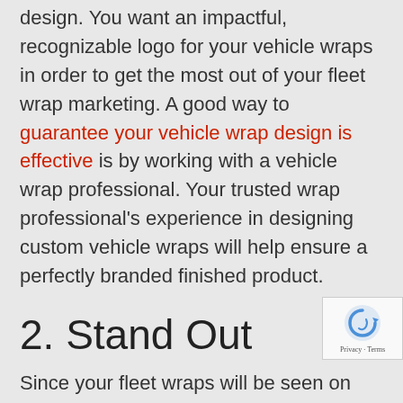design. You want an impactful, recognizable logo for your vehicle wraps in order to get the most out of your fleet wrap marketing. A good way to guarantee your vehicle wrap design is effective is by working with a vehicle wrap professional. Your trusted wrap professional's experience in designing custom vehicle wraps will help ensure a perfectly branded finished product.
2. Stand Out
Since your fleet wraps will be seen on the road, you want to grab the attention of potential customers. Make sure your fleet stands out from the rest of the vehicles on the road–especially those from similar busine... Pay attention to the fleet wrap designs you see o... vehicles in your area and look to design a vehicle wrap